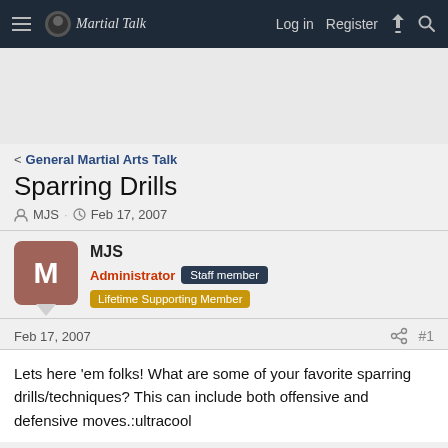Martial Talk — Log in   Register
[Figure (other): Advertisement banner area (gray placeholder)]
< General Martial Arts Talk
Sparring Drills
MJS · Feb 17, 2007
MJS — Administrator   Staff member   Lifetime Supporting Member
Feb 17, 2007   #1
Lets here 'em folks! What are some of your favorite sparring drills/techniques? This can include both offensive and defensive moves.:ultracool